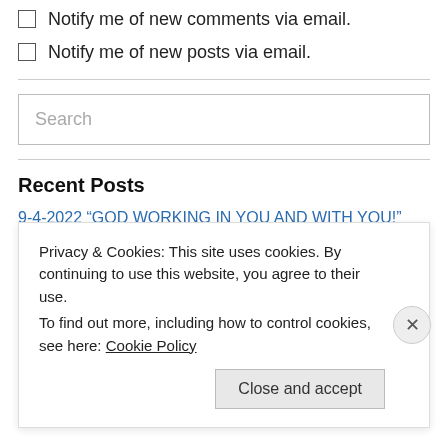Notify me of new comments via email.
Notify me of new posts via email.
Search
Recent Posts
9-4-2022 “GOD WORKING IN YOU AND WITH YOU!” Philippians 2:12-13
8-28-2022 “GOD WORKING IN YOU… NOW: WHERE?” Philippians
Privacy & Cookies: This site uses cookies. By continuing to use this website, you agree to their use.
To find out more, including how to control cookies, see here: Cookie Policy
Close and accept